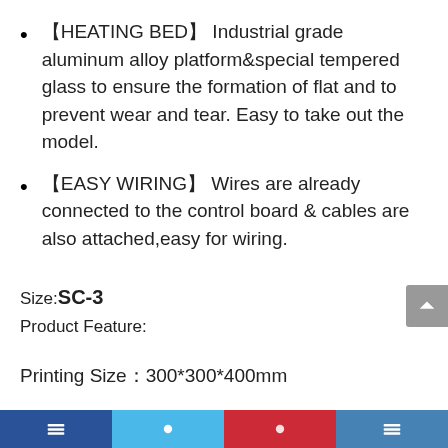【HEATING BED】 Industrial grade aluminum alloy platform&special tempered glass to ensure the formation of flat and to prevent wear and tear. Easy to take out the model.
【EASY WIRING】 Wires are already connected to the control board & cables are also attached,easy for wiring.
Size:SC-3
Product Feature:
Printing Size：300*300*400mm
Printing accuracy：±0.1mm